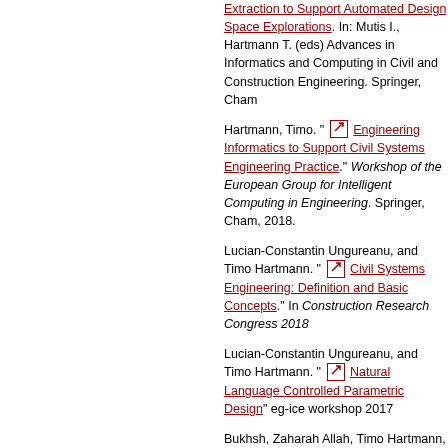Extraction to Support Automated Design Space Explorations. In: Mutis I., Hartmann T. (eds) Advances in Informatics and Computing in Civil and Construction Engineering. Springer, Cham
Hartmann, Timo. " Engineering Informatics to Support Civil Systems Engineering Practice." Workshop of the European Group for Intelligent Computing in Engineering. Springer, Cham, 2018.
Lucian-Constantin Ungureanu, and Timo Hartmann. " Civil Systems Engineering: Definition and Basic Concepts." In Construction Research Congress 2018
Lucian-Constantin Ungureanu, and Timo Hartmann. " Natural Language Controlled Parametric Design" eg-ice workshop 2017
Bukhsh, Zaharah Allah, Timo Hartmann, Irina Stipanovic. "From Analysis of Information Needs towards an Information Model of Railway Infrastructure." eg-ice Workshop 2016
Hartmann, Timo. "Serious Gaming in Construction Management Research and Education." Construction Research